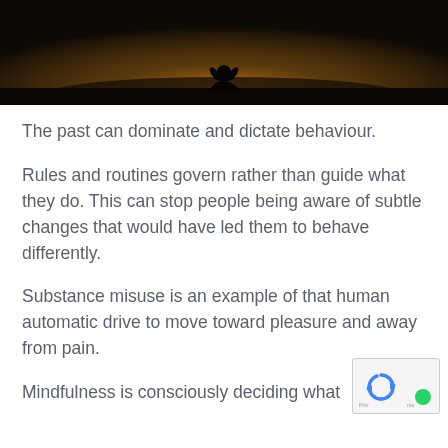[Figure (photo): Silhouette of a person sitting outdoors at sunset/dusk, dark sky background]
The past can dominate and dictate behaviour.
Rules and routines govern rather than guide what they do. This can stop people being aware of subtle changes that would have led them to behave differently.
Substance misuse is an example of that human automatic drive to move toward pleasure and away from pain.
Mindfulness is consciously deciding what